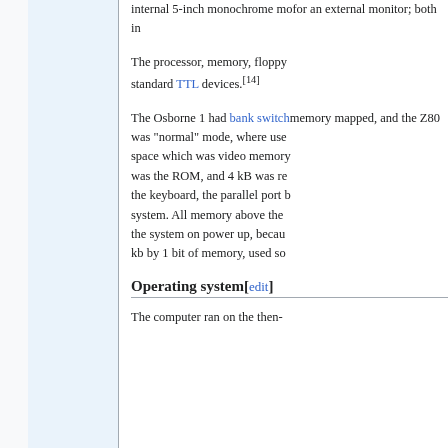internal 5-inch monochrome mo... for an external monitor; both in...
The processor, memory, floppy... standard TTL devices.[14]
The Osborne 1 had bank switch... memory mapped, and the Z80 was "normal" mode, where use... space which was video memor... was the ROM, and 4 kB was re... the keyboard, the parallel port b... system. All memory above the ... the system on power up, becau... kb by 1 bit of memory, used so...
Operating system[edit]
The computer ran on the then-...